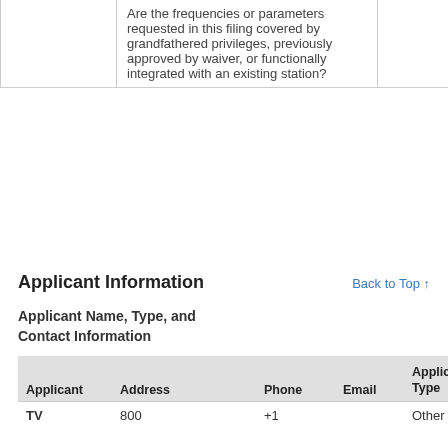|  | Question |  |
| --- | --- | --- |
|  | Are the frequencies or parameters requested in this filing covered by grandfathered privileges, previously approved by waiver, or functionally integrated with an existing station? |  |
Applicant Information
Back to Top ↑
Applicant Name, Type, and Contact Information
| Applicant | Address | Phone | Email | Applicant Type |
| --- | --- | --- | --- | --- |
| TV | 800 | +1 |  | Other |